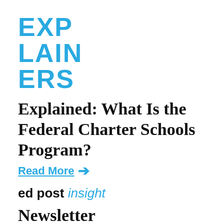EXPLAINERS
Explained: What Is the Federal Charter Schools Program?
Read More →
ed post insight
Newsletter